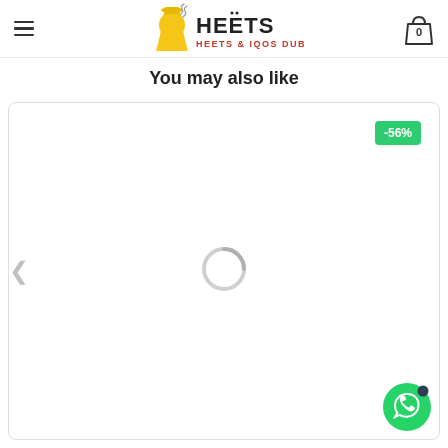[Figure (logo): Heets & IQOS Dubai logo with cartoon man in yellow hat smoking]
[Figure (screenshot): Shopping cart icon with 0 badge]
You may also like
[Figure (screenshot): Product card with -56% discount badge and loading spinner]
[Figure (screenshot): WhatsApp contact button (green circle with WhatsApp icon)]